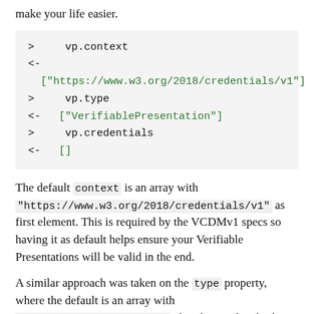make your life easier.
> vp.context
<- ["https://www.w3.org/2018/credentials/v1"]
> vp.type
<- ["VerifiablePresentation"]
> vp.credentials
<- []
The default context is an array with "https://www.w3.org/2018/credentials/v1" as first element. This is required by the VCDMv1 specs so having it as default helps ensure your Verifiable Presentations will be valid in the end.
A similar approach was taken on the type property, where the default is an array with "VerifiablePresentation" already populated. This is also required by the specs.
The credentials property is required to exist, so this